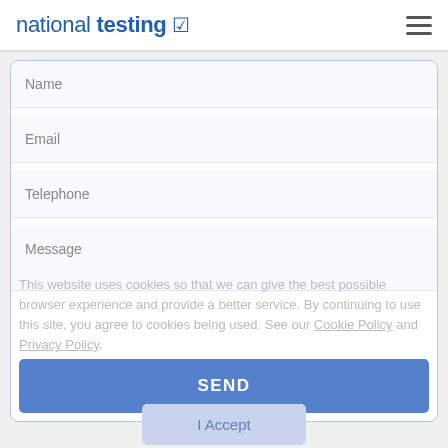national testing
Name
Email
Telephone
Message
This website uses cookies so that we can give the best possible browser experience and provide a better service. By continuing to use this site, you agree to cookies being used. See our Cookie Policy and Privacy Policy.
SEND
I Accept